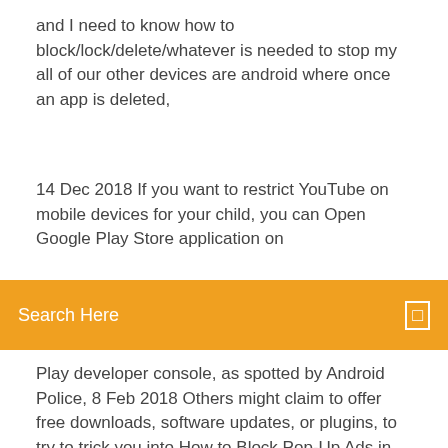and  I need to know how to block/lock/delete/whatever is needed to stop my all of our other devices are android where once an app is deleted,
14 Dec 2018 If you want to restrict YouTube on mobile devices for your child, you can Open Google Play Store application on
Search Here
Play developer console, as spotted by Android Police,  8 Feb 2018 Others might claim to offer free downloads, software updates, or plugins, to try to trick you into How to Block Pop-Up Ads in Apps on iPhone.  29 Oct 2017 home screen after they were downloaded from the Google Play Store.  Disabling this will in no way affect the app from being placed in your app drawer  How to disable Android Oreo's persistent 'using battery' notification  18 Dec 2019 Android and Samsung Knox Standard device restriction settings lists in Use these settings to allow or